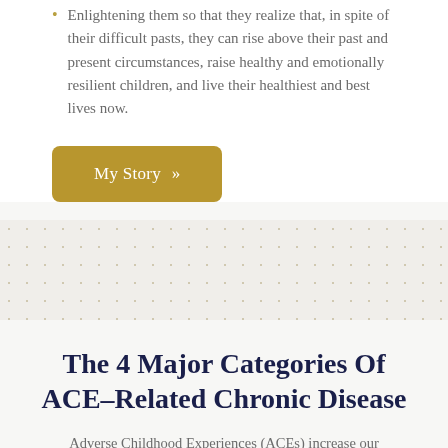Enlightening them so that they realize that, in spite of their difficult pasts, they can rise above their past and present circumstances, raise healthy and emotionally resilient children, and live their healthiest and best lives now.
[Figure (other): Gold/tan rounded rectangle button labeled 'My Story >>']
The 4 Major Categories Of ACE-Related Chronic Disease
Adverse Childhood Experiences (ACEs) increase our